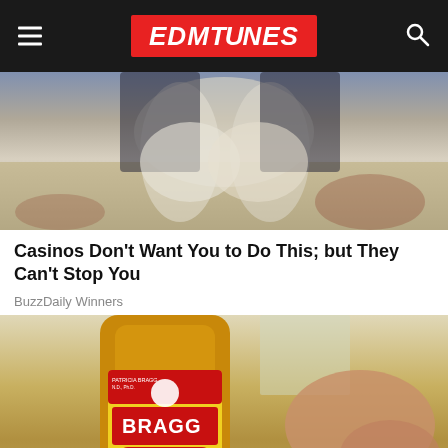EDMTunes
[Figure (photo): Photo of a person sitting, legs crossed, wearing light pants and a dark jacket, on a patterned carpet]
Casinos Don't Want You to Do This; but They Can't Stop You
BuzzDaily Winners
[Figure (photo): Photo of a bottle of Bragg Organic Raw Unfiltered Apple Cider Vinegar being held in a hand]